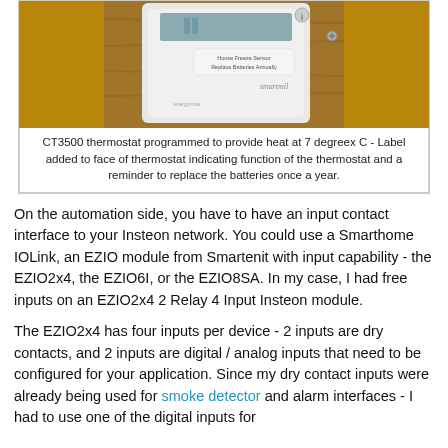[Figure (photo): CT3500 thermostat mounted on a wooden wall, white plastic housing with a label on the face reading 'House Freeze Sensor / Replace Batteries Annually']
CT3500 thermostat programmed to provide heat at 7 degreex C - Label added to face of thermostat indicating function of the thermostat and a reminder to replace the batteries once a year.
On the automation side, you have to have an input contact interface to your Insteon network. You could use a Smarthome IOLink, an EZIO module from Smartenit with input capability - the EZIO2x4, the EZIO6I, or the EZIO8SA. In my case, I had free inputs on an EZIO2x4 2 Relay 4 Input Insteon module.
The EZIO2x4 has four inputs per device - 2 inputs are dry contacts, and 2 inputs are digital / analog inputs that need to be configured for your application. Since my dry contact inputs were already being used for smoke detector and alarm interfaces - I had to use one of the digital inputs for